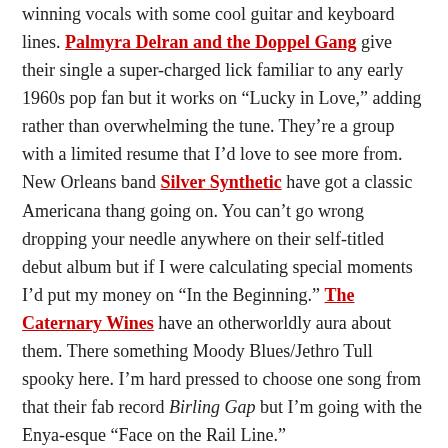winning vocals with some cool guitar and keyboard lines. Palmyra Delran and the Doppel Gang give their single a super-charged lick familiar to any early 1960s pop fan but it works on “Lucky in Love,” adding rather than overwhelming the tune. They’re a group with a limited resume that I’d love to see more from. New Orleans band Silver Synthetic have got a classic Americana thang going on. You can’t go wrong dropping your needle anywhere on their self-titled debut album but if I were calculating special moments I’d put my money on “In the Beginning.” The Caternary Wines have an otherworldly aura about them. There something Moody Blues/Jethro Tull spooky here. I’m hard pressed to choose one song from that their fab record Birling Gap but I’m going with the Enya-esque “Face on the Rail Line.”
[Figure (screenshot): Music player bar showing album art thumbnail, play button, track title 'I Met Her Yester...' by Stephen S...]